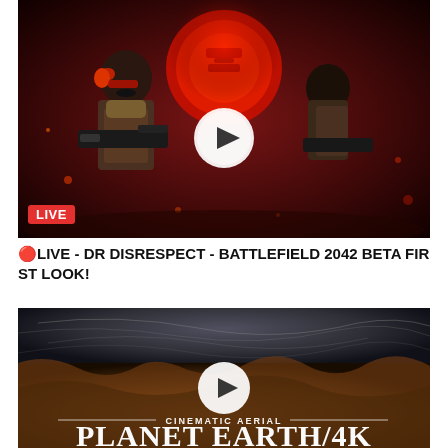[Figure (screenshot): Gaming livestream thumbnail showing Dr Disrespect characters with guns against a red glowing background. Shows a LIVE badge in bottom-left corner and a play button in the center.]
🔴LIVE - DR DISRESPECT - BATTLEFIELD 2042 BETA FIRST LOOK!
[Figure (screenshot): Cinematic aerial video thumbnail showing cave/rock formations with swirling sky. Has play button in center, text reads CINEMATIC AERIAL - PLANET EARTH 4K]